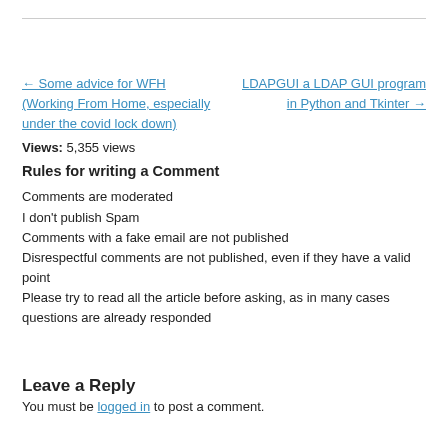← Some advice for WFH (Working From Home, especially under the covid lock down)
LDAPGUI a LDAP GUI program in Python and Tkinter →
Views: 5,355 views
Rules for writing a Comment
Comments are moderated
I don't publish Spam
Comments with a fake email are not published
Disrespectful comments are not published, even if they have a valid point
Please try to read all the article before asking, as in many cases questions are already responded
Leave a Reply
You must be logged in to post a comment.